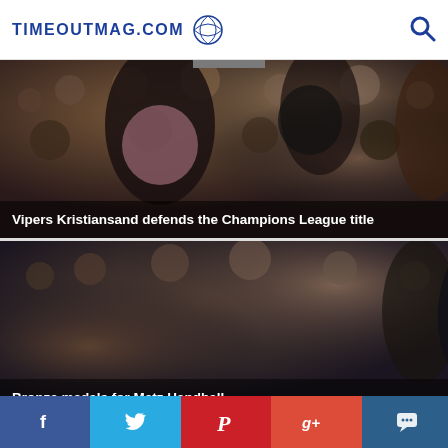TIMEOUTMAG.COM
[Figure (photo): Handball players celebrating, Vipers Kristiansand team, crowd in background]
Vipers Kristiansand defends the Champions League title
[Figure (photo): Female handball player throwing ball, Metz Handball team, crowd in background]
Bronze medals for Metz Handball
Social share bar: Facebook, Twitter, Pinterest, Google+, Comment